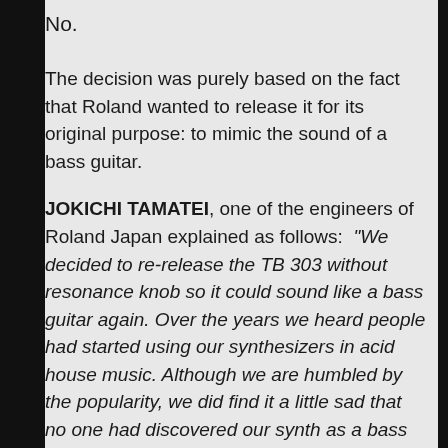No.
The decision was purely based on the fact that Roland wanted to release it for its original purpose: to mimic the sound of a bass guitar.
JOKICHI TAMATEI, one of the engineers of Roland Japan explained as follows: “We decided to re-release the TB 303 without resonance knob so it could sound like a bass guitar again. Over the years we heard people had started using our synthesizers in acid house music. Although we are humbled by the popularity, we did find it a little sad that no one had discovered our synth as a bass guitar-substitute to use during solo practice sessions.
As we played with the idea of re-releasing the fully analog original, we wanted to step away from the